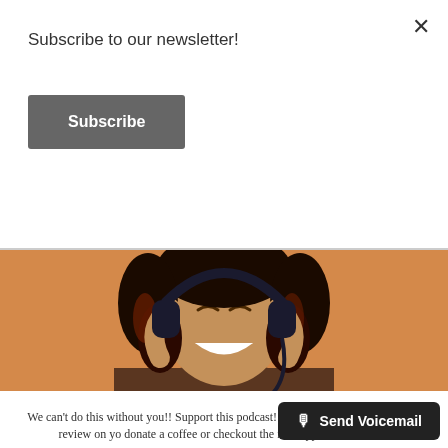Subscribe to our newsletter!
Subscribe
[Figure (photo): Woman with curly hair smiling with eyes closed, wearing headphones and a brown shirt, against an orange background.]
We can't do this without you!! Support this podcast! Use the referral links, leave a review on yo... donate a coffee or checkout the me... support on Patreon!
🎙 Send Voicemail